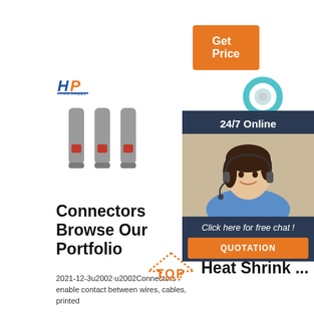[Figure (other): Orange 'Get Price' call-to-action button in upper right]
[Figure (photo): HP logo and three gray/red wire connector pins product photo]
[Figure (photo): HP logo and blue heat shrink ring terminal product photo]
[Figure (photo): HP logo and white silicone rubber tubing product photo]
Connectors Browse Our Portfolio
2021-12-3u2002·u2002Connectors enable contact between wires, cables, printed
Heat Shrink Tubing Catalog - Flexwires-Wires, Heat Shrink ...
Silicone Rubber Tubing Product Fiberglass sleeve factory ...
Automobile wire
[Figure (other): 24/7 Online chat panel with customer service agent photo, 'Click here for free chat!' text, and orange QUOTATION button]
[Figure (other): TOP orange arrow watermark in lower right area]